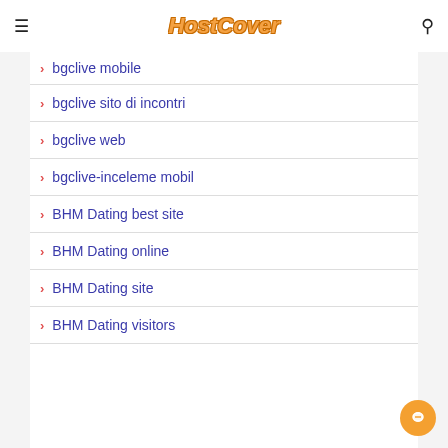HostCover
bgclive mobile
bgclive sito di incontri
bgclive web
bgclive-inceleme mobil
BHM Dating best site
BHM Dating online
BHM Dating site
BHM Dating visitors